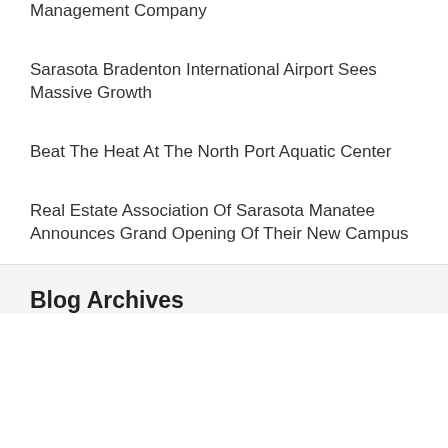Management Company
Sarasota Bradenton International Airport Sees Massive Growth
Beat The Heat At The North Port Aquatic Center
Real Estate Association Of Sarasota Manatee Announces Grand Opening Of Their New Campus
Blog Archives